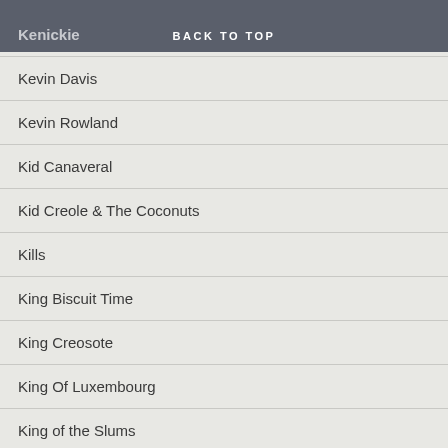BACK TO TOP | Kenickie
Kevin Davis
Kevin Rowland
Kid Canaveral
Kid Creole & The Coconuts
Kills
King Biscuit Time
King Creosote
King Of Luxembourg
King of the Slums
Kingfishers
Kingmaker
Kinks